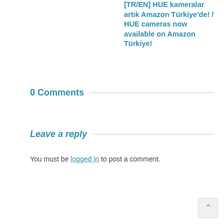[TR/EN] HUE kameralar artık Amazon Türkiye'de! / HUE cameras now available on Amazon Türkiye!
0 Comments
Leave a reply
You must be logged in to post a comment.